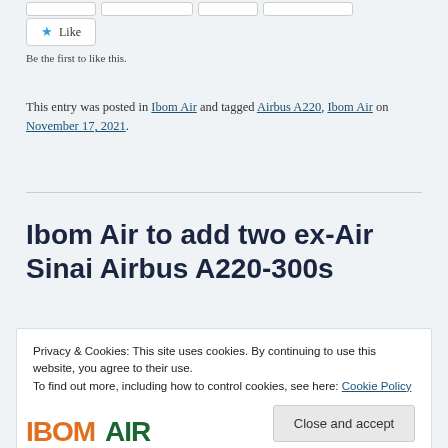Be the first to like this.
This entry was posted in Ibom Air and tagged Airbus A220, Ibom Air on November 17, 2021.
Ibom Air to add two ex-Air Sinai Airbus A220-300s
Privacy & Cookies: This site uses cookies. By continuing to use this website, you agree to their use.
To find out more, including how to control cookies, see here: Cookie Policy
[Figure (logo): Ibom Air logo partial, showing orange and green text letters at the bottom of the page]